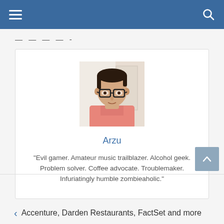Navigation menu and search
— — — — -
[Figure (photo): Profile photo of a young man with dark hair and glasses, wearing a pink shirt, photographed indoors.]
Arzu
"Evil gamer. Amateur music trailblazer. Alcohol geek. Problem solver. Coffee advocate. Troublemaker. Infuriatingly humble zombieaholic."
‹ Accenture, Darden Restaurants, FactSet and more